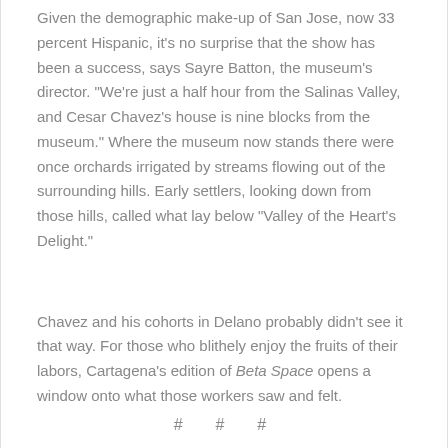Given the demographic make-up of San Jose, now 33 percent Hispanic, it's no surprise that the show has been a success, says Sayre Batton, the museum's director.  "We're just a half hour from the Salinas Valley, and Cesar Chavez's house is nine blocks from the museum." Where the museum now stands there were once orchards irrigated by streams flowing out of the surrounding hills.  Early settlers, looking down from those hills, called what lay below "Valley of the Heart's Delight."
Chavez and his cohorts in Delano probably didn't see it that way.  For those who blithely enjoy the fruits of their labors, Cartagena's edition of Beta Space opens a window onto what those workers saw and felt.
# # #